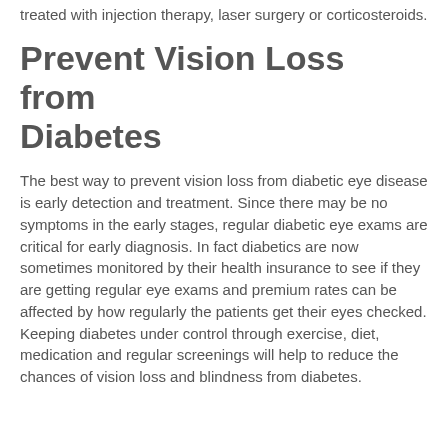treated with injection therapy, laser surgery or corticosteroids.
Prevent Vision Loss from Diabetes
The best way to prevent vision loss from diabetic eye disease is early detection and treatment. Since there may be no symptoms in the early stages, regular diabetic eye exams are critical for early diagnosis. In fact diabetics are now sometimes monitored by their health insurance to see if they are getting regular eye exams and premium rates can be affected by how regularly the patients get their eyes checked. Keeping diabetes under control through exercise, diet, medication and regular screenings will help to reduce the chances of vision loss and blindness from diabetes.